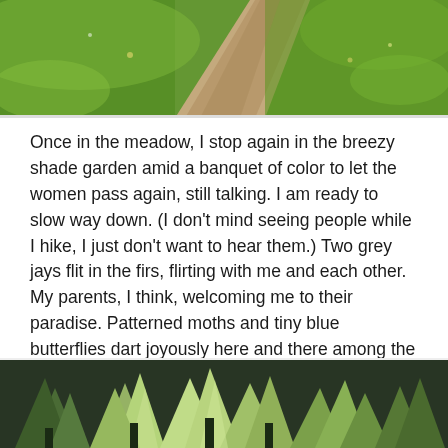[Figure (photo): Aerial view of a dirt path cutting through lush green grass meadow]
Once in the meadow, I stop again in the breezy shade garden amid a banquet of color to let the women pass again, still talking. I am ready to slow way down. (I don't mind seeing people while I hike, I just don't want to hear them.) Two grey jays flit in the firs, flirting with me and each other. My parents, I think, welcoming me to their paradise. Patterned moths and tiny blue butterflies dart joyously here and there among the flowers. A chipmunk sits up as I pass by. I stop and watch her, then leave before she does. We are with you, they all seem to be saying. We are one.
[Figure (photo): Close-up of green conifer tree tops with a vintage/faded color treatment]